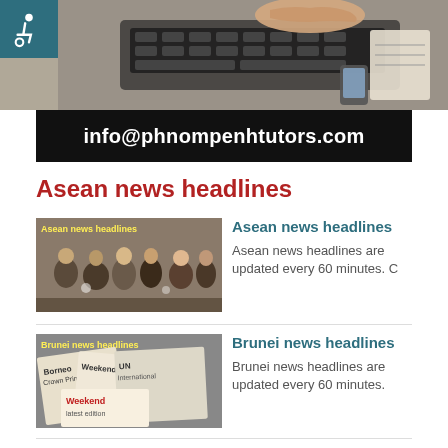[Figure (photo): Person typing on laptop keyboard, top banner area]
info@phnompenhtutors.com
Asean news headlines
[Figure (photo): People at news event or press conference, crowded room]
Asean news headlines
Asean news headlines are updated every 60 minutes. C
[Figure (photo): Newspapers including Borneo Post and Weekend newspaper]
Brunei news headlines
Brunei news headlines are updated every 60 minutes.
[Figure (photo): Cambodia street scene with signage]
Cambodia news headlines
Cambodia news headlines are